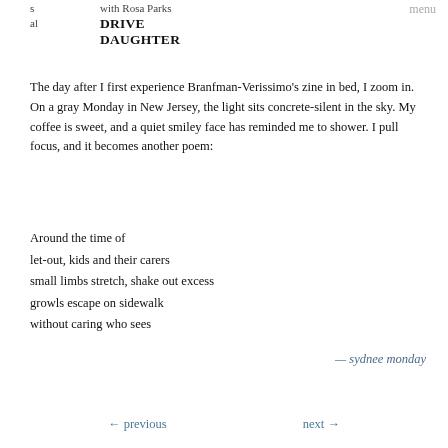s   with Rosa Parks
al   DRIVE
   DAUGHTER
The day after I first experience Branfman-Verissimo's zine in bed, I zoom in. On a gray Monday in New Jersey, the light sits concrete-silent in the sky. My coffee is sweet, and a quiet smiley face has reminded me to shower. I pull focus, and it becomes another poem:
Around the time of
let-out, kids and their carers
small limbs stretch, shake out excess
growls escape on sidewalk
without caring who sees
— sydnee monday
← previous   next →